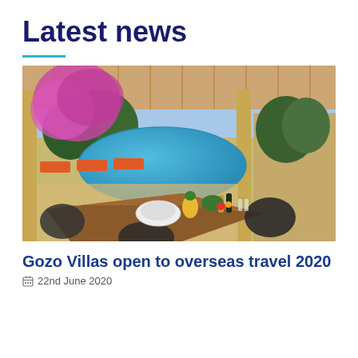Latest news
[Figure (photo): Outdoor villa terrace with a wooden dining table set with plates, bottles, and food items in the foreground; a blue swimming pool in the middle; sun loungers and lush pink bougainvillea flowers on the left; stone walls and trees in the background under a clear sky.]
Gozo Villas open to overseas travel 2020
22nd June 2020